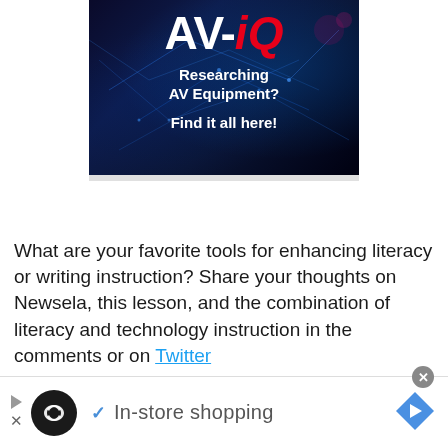[Figure (illustration): AV-iQ advertisement banner with dark blue network/technology background. Shows 'AV-iQ' logo in white and red italic text, with tagline 'Researching AV Equipment? Find it all here!' in bold white text.]
What are your favorite tools for enhancing literacy or writing instruction? Share your thoughts on Newsela, this lesson, and the combination of literacy and technology instruction in the comments or on Twitter
[Figure (infographic): Bottom advertisement bar showing a play button, loop/infinity icon in black circle, checkmark, 'In-store shopping' text, and a blue diamond navigation icon.]